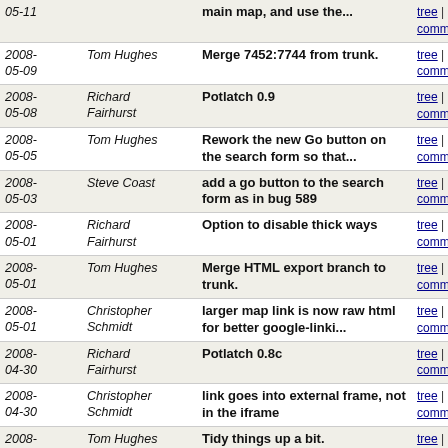| Date | Author | Message | Links |
| --- | --- | --- | --- |
| 2008-05-11 |  | main map, and use the... | tree | commitdiff |
| 2008-05-09 | Tom Hughes | Merge 7452:7744 from trunk. | tree | commitdiff |
| 2008-05-08 | Richard Fairhurst | Potlatch 0.9 | tree | commitdiff |
| 2008-05-05 | Tom Hughes | Rework the new Go button on the search form so that... | tree | commitdiff |
| 2008-05-03 | Steve Coast | add a go button to the search form as in bug 589 | tree | commitdiff |
| 2008-05-01 | Richard Fairhurst | Option to disable thick ways | tree | commitdiff |
| 2008-05-01 | Tom Hughes | Merge HTML export branch to trunk. | tree | commitdiff |
| 2008-05-01 | Christopher Schmidt | larger map link is now raw html for better google-linki... | tree | commitdiff |
| 2008-04-30 | Richard Fairhurst | Potlatch 0.8c | tree | commitdiff |
| 2008-04-30 | Christopher Schmidt | link goes into external frame, not in the iframe | tree | commitdiff |
| 2008-04-30 | Tom Hughes | Tidy things up a bit. | tree | commitdiff |
| 2008-04-30 | Christopher Schmidt | Simplify a couple things that no longer need to be... | tree | commitdiff |
| 2008-04-30 | Christopher Schmidt | improvements to embed.html, now uses bbox instead of... | tree | commitdiff |
| 2008-04-29 | Tom Hughes | Fix attribution strings. | tree | commitdiff |